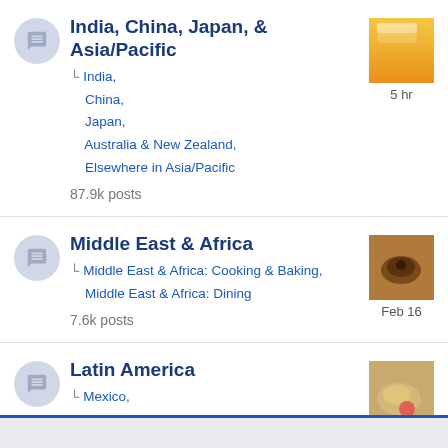India, China, Japan, & Asia/Pacific — subcategories: India, China, Japan, Australia & New Zealand, Elsewhere in Asia/Pacific — 87.9k posts — 5 hr
Middle East & Africa — subcategories: Middle East & Africa: Cooking & Baking, Middle East & Africa: Dining — 7.6k posts — Feb 16
Latin America — subcategories: Mexico, Central & South America — 8.2k posts — Jul 23